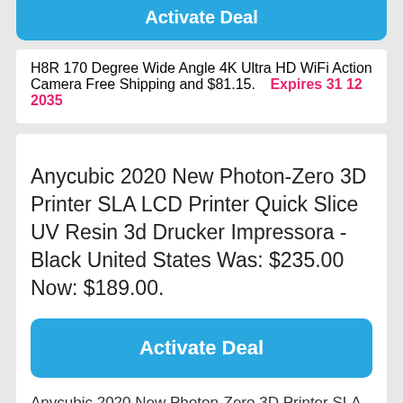Activate Deal
H8R 170 Degree Wide Angle 4K Ultra HD WiFi Action Camera Free Shipping and $81.15.   Expires 31 12 2035
Anycubic 2020 New Photon-Zero 3D Printer SLA LCD Printer Quick Slice UV Resin 3d Drucker Impressora - Black United States Was: $235.00 Now: $189.00.
Activate Deal
Anycubic 2020 New Photon-Zero 3D Printer SLA LCD Printer Quick Slice UV Resin 3d Drucker Impressora - Black United States Was: $235.00 Now: $189.00.